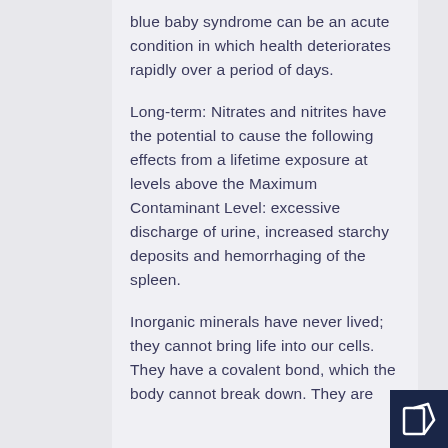blue baby syndrome can be an acute condition in which health deteriorates rapidly over a period of days.
Long-term: Nitrates and nitrites have the potential to cause the following effects from a lifetime exposure at levels above the Maximum Contaminant Level: excessive discharge of urine, increased starchy deposits and hemorrhaging of the spleen.
Inorganic minerals have never lived; they cannot bring life into our cells. They have a covalent bond, which the body cannot break down. They are